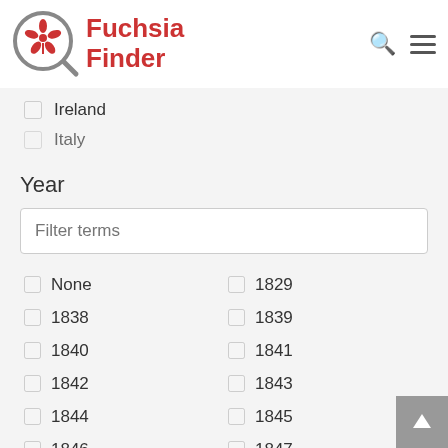[Figure (logo): Fuchsia Finder logo with magnifying glass and fuchsia flower illustration in red/gray, with red text 'Fuchsia Finder']
Ireland
Italy
Year
Filter terms
None
1829
1838
1839
1840
1841
1842
1843
1844
1845
1846
1847
1848
1849
1850
1851
1852
1853